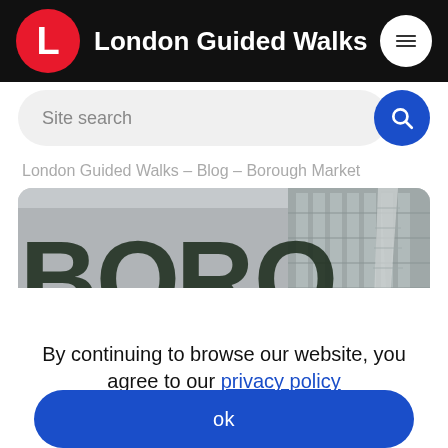London Guided Walks
Site search
London Guided Walks – Blog – Borough Market
[Figure (photo): Borough Market signage with large letters B, O, R, O visible and The Shard skyscraper in the background, overcast sky]
By continuing to browse our website, you agree to our privacy policy
ok